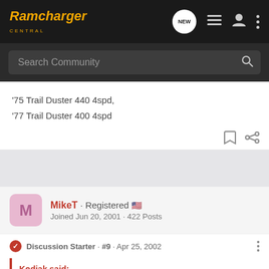Ramcharger Central
Search Community
'75 Trail Duster 440 4spd,
'77 Trail Duster 400 4spd
MikeT · Registered
Joined Jun 20, 2001 · 422 Posts
Discussion Starter · #9 · Apr 25, 2002
Kodiak said:
Sharp... y is going t
[Figure (screenshot): Toyo Tires advertisement banner — truck driving in dirt with text DOMINATION IN THE DIRT. TOYO TIRES #TEAMTOYO LEARN MORE]